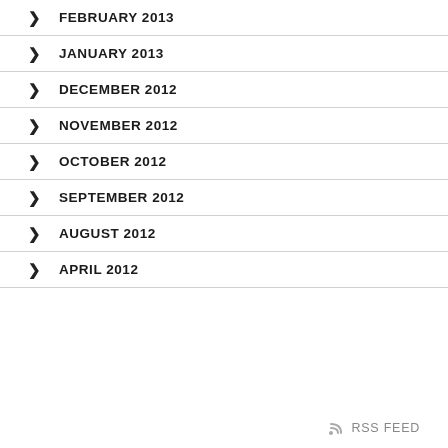FEBRUARY 2013
JANUARY 2013
DECEMBER 2012
NOVEMBER 2012
OCTOBER 2012
SEPTEMBER 2012
AUGUST 2012
APRIL 2012
RSS FEED